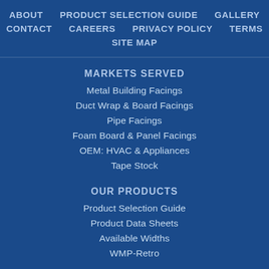ABOUT   PRODUCT SELECTION GUIDE   GALLERY
CONTACT   CAREERS   PRIVACY POLICY   TERMS
SITE MAP
MARKETS SERVED
Metal Building Facings
Duct Wrap & Board Facings
Pipe Facings
Foam Board & Panel Facings
OEM: HVAC & Appliances
Tape Stock
OUR PRODUCTS
Product Selection Guide
Product Data Sheets
Available Widths
WMP-Retro